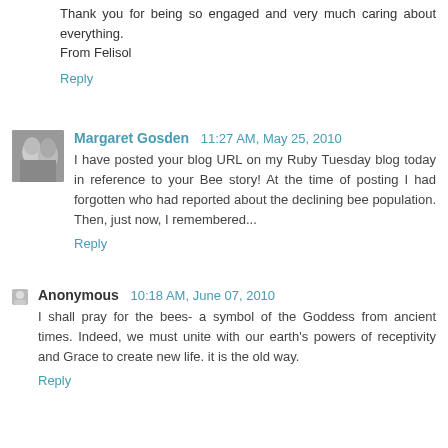Thank you for being so engaged and very much caring about everything.
From Felisol
Reply
Margaret Gosden  11:27 AM, May 25, 2010
I have posted your blog URL on my Ruby Tuesday blog today in reference to your Bee story! At the time of posting I had forgotten who had reported about the declining bee population. Then, just now, I remembered...
Reply
Anonymous  10:18 AM, June 07, 2010
I shall pray for the bees- a symbol of the Goddess from ancient times. Indeed, we must unite with our earth's powers of receptivity and Grace to create new life. it is the old way.
Reply